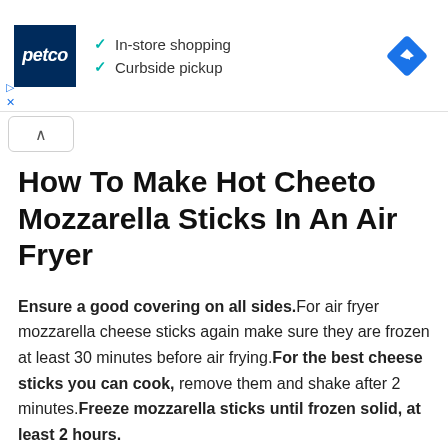[Figure (logo): Petco advertisement banner with Petco logo (blue square with white italic text), checkmarks for In-store shopping and Curbside pickup, and a blue diamond navigation icon on the right]
How To Make Hot Cheeto Mozzarella Sticks In An Air Fryer
Ensure a good covering on all sides.For air fryer mozzarella cheese sticks again make sure they are frozen at least 30 minutes before air frying.For the best cheese sticks you can cook, remove them and shake after 2 minutes.Freeze mozzarella sticks until frozen solid, at least 2 hours.
Heat at 350 for 2 minutes.Heat at 350 for 2 minutes.Heat the